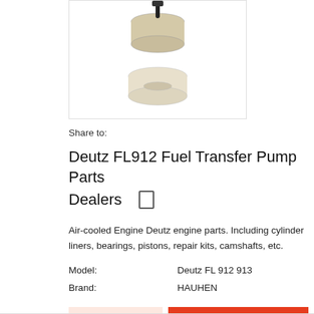[Figure (photo): Product photo of Deutz FL912 Fuel Transfer Pump parts showing two white/cream colored cylindrical components on white background]
Share to:
Deutz FL912 Fuel Transfer Pump Parts Dealers
Air-cooled Engine Deutz engine parts. Including cylinder liners, bearings, pistons, repair kits, camshafts, etc.
Model:   Deutz FL 912 913
Brand:   HAUHEN